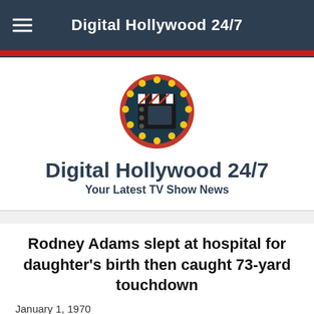Digital Hollywood 24/7
[Figure (logo): Circular logo with a film clapperboard in the center on a dark teal background, surrounded by a red border with yellow light bulbs]
Digital Hollywood 24/7
Your Latest TV Show News
Rodney Adams slept at hospital for daughter's birth then caught 73-yard touchdown
January 1, 1970